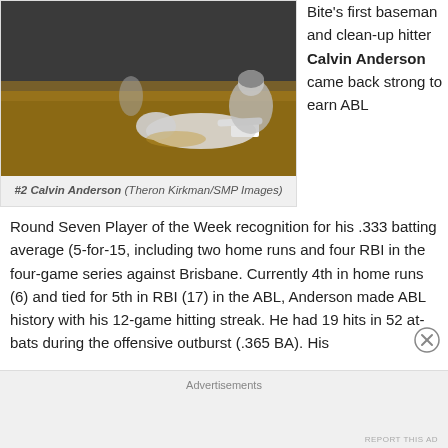[Figure (photo): Baseball action photo showing player sliding into base]
#2 Calvin Anderson (Theron Kirkman/SMP Images)
Bite's first baseman and clean-up hitter Calvin Anderson came back strong to earn ABL Round Seven Player of the Week recognition for his .333 batting average (5-for-15, including two home runs and four RBI in the four-game series against Brisbane. Currently 4th in home runs (6) and tied for 5th in RBI (17) in the ABL, Anderson made ABL history with his 12-game hitting streak. He had 19 hits in 52 at-bats during the offensive outburst (.365 BA). His
Advertisements